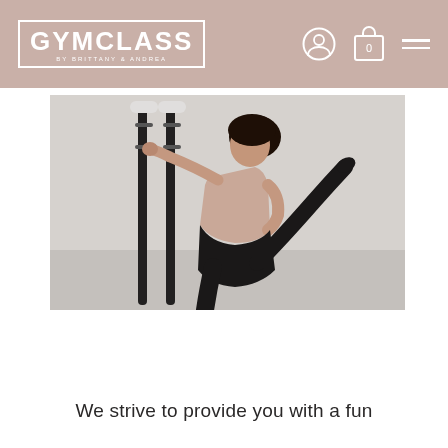GYMCLASS BY BRITTANY & ANDREA
[Figure (photo): A woman in athletic wear (pink sports bra and black leggings) performing a high kick while holding onto vertical parallel bars, against a white wall background.]
We strive to provide you with a fun